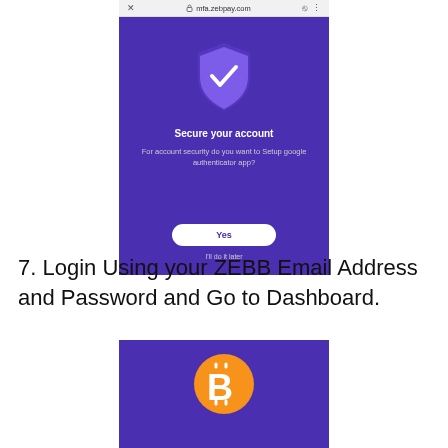[Figure (screenshot): Mobile app screenshot showing a purple 'Secure your account' screen from mfa.zebpay.com with a shield checkmark icon, asking if user wants to Setup google authenticator app, with Yes button and 'I'll do it later' link]
7. Login Using your ZEBB Email Address and Password and Go to Dashboard.
[Figure (screenshot): Partial mobile screenshot showing a purple screen with a Bitcoin (BTC) logo in orange and white]